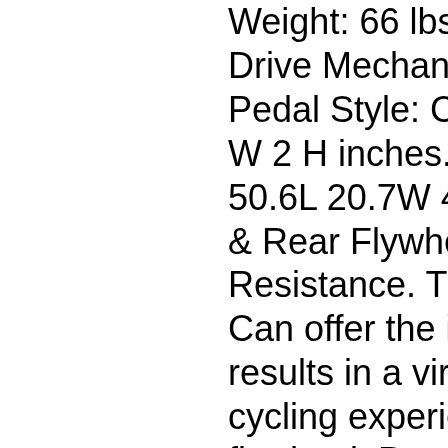Weight: 66 lbs. Gross Weight: 70 lbs. Drive Mechanism: Belt Drive. Foot Pedal Style: Caged. Seat Size: 11 L 9 W 2 H inches. Product Dimensions: 50.6L 20.7W 49.2 H inches. Soild Built & Rear Flywheel & Magnetic Resistance. The anti-aging belt with. Can offer the ideal performance, results in a virtually silent and stable cycling experience. Belt drive rear flywheel. Provides more stability than front flywheel system. Strengthen your legs with a higher weighted wheel and enjoy an incredibly smooth, which can better protect your children while cycling. Pooboo exercise bike is designed with a durable frame that supports up to. Experience a high intensity cardio workout with the pooboo cycling bicycle that supports multi-hand grips and high-interval training. You can choose different riding gestures while using different intensity resistance by twisting